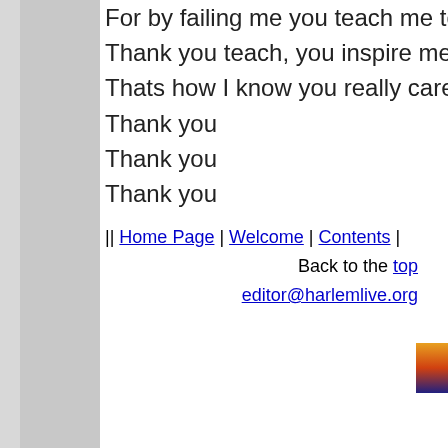For by failing me you teach me to be a better
Thank you teach, you inspire me every year
Thats how I know you really care
Thank you
Thank you
Thank you
|| Home Page | Welcome | Contents |
Back to the top
editor@harlemlive.org